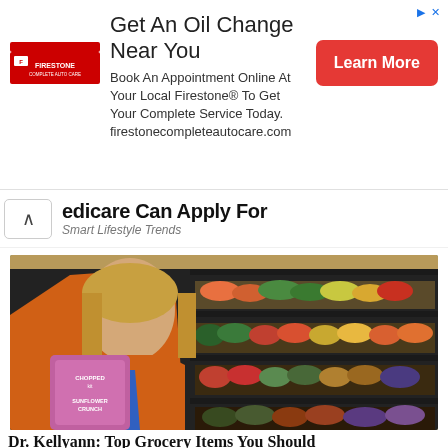[Figure (screenshot): Advertisement banner for Firestone Complete Auto Care. Headline: 'Get An Oil Change Near You'. Body: 'Book An Appointment Online At Your Local Firestone® To Get Your Complete Service Today. firestonecompleteautocare.com'. Red 'Learn More' button on right. Firestone logo on left.]
edicare Can Apply For
Smart Lifestyle Trends
[Figure (photo): A blonde woman in an orange cardigan holding a bag of chopped kit sunflower crunch salad, standing in a grocery store produce aisle with colorful fruits and vegetables on shelves behind her.]
Dr. Kellyann: Top Grocery Items You Should